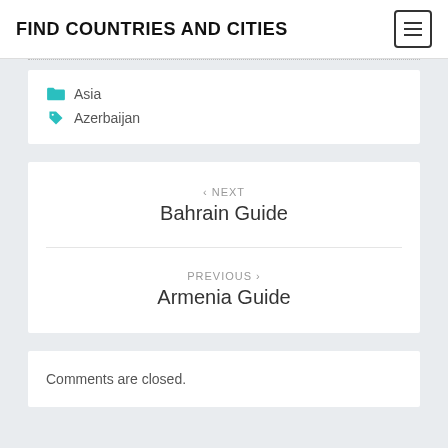FIND COUNTRIES AND CITIES
Asia
Azerbaijan
< NEXT
Bahrain Guide
PREVIOUS >
Armenia Guide
Comments are closed.